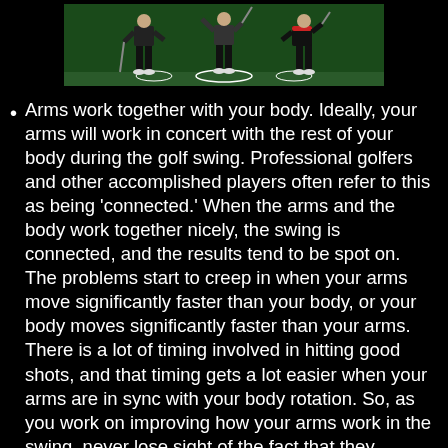[Figure (photo): Three golfers shown side by side on a green surface demonstrating golf swing positions, viewed from behind, wearing black pants and white shoes.]
Arms work together with your body. Ideally, your arms will work in concert with the rest of your body during the golf swing. Professional golfers and other accomplished players often refer to this as being 'connected.' When the arms and the body work together nicely, the swing is connected, and the results tend to be spot on. The problems start to creep in when your arms move significantly faster than your body, or your body moves significantly faster than your arms. There is a lot of timing involved in hitting good shots, and that timing gets a lot easier when your arms are in sync with your body rotation. So, as you work on improving how your arms work in the swing, never lose sight of the fact that they should work together beautifully with the rest of your body.
Your arms play a role in alignment. When you think about topics like aim and alignment in the golf swing, you probably think mostly about the club face and your feet. The club face needs to aim accurately down the target line, and your feet need to match up on a line parallel to the left of…